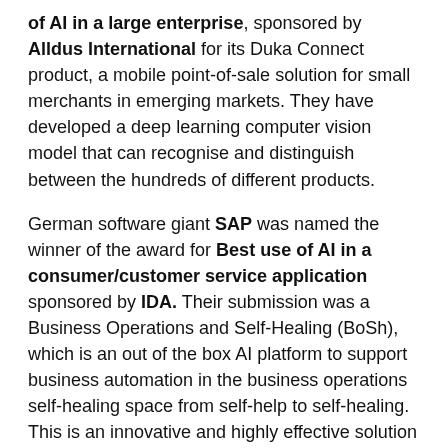of AI in a large enterprise, sponsored by Alldus International for its Duka Connect product, a mobile point-of-sale solution for small merchants in emerging markets. They have developed a deep learning computer vision model that can recognise and distinguish between the hundreds of different products.
German software giant SAP was named the winner of the award for Best use of AI in a consumer/customer service application sponsored by IDA. Their submission was a Business Operations and Self-Healing (BoSh), which is an out of the box AI platform to support business automation in the business operations self-healing space from self-help to self-healing. This is an innovative and highly effective solution for existing enterprise systems, thus reducing the burden of more tedious tasks for service helpdesks.